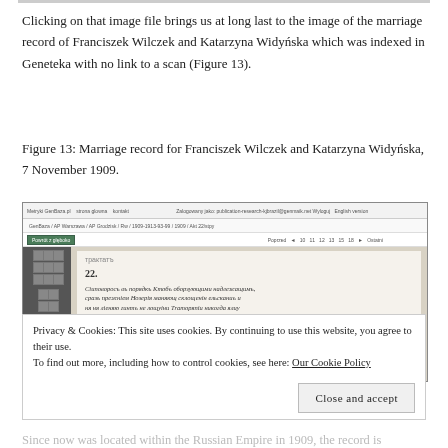Clicking on that image file brings us at long last to the image of the marriage record of Franciszek Wilczek and Katarzyna Widyńska which was indexed in Geneteka with no link to a scan (Figure 13).
Figure 13: Marriage record for Franciszek Wilczek and Katarzyna Widyńska, 7 November 1909.
[Figure (screenshot): Screenshot of the Metryki GenBaza website showing a scanned handwritten marriage record document in Cyrillic/Slavic script, with navigation toolbar, sidebar controls, and document viewer area.]
Privacy & Cookies: This site uses cookies. By continuing to use this website, you agree to their use.
To find out more, including how to control cookies, see here: Our Cookie Policy
Close and accept
Since now was located within the Russian Empire in 1909, the record is